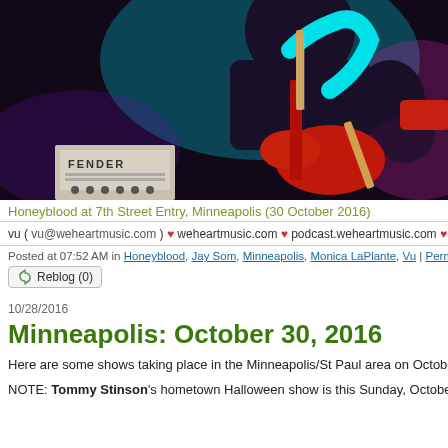[Figure (photo): Concert photo of a guitarist performing on stage with teal/cyan and pink/magenta lighting, a Fender amplifier visible in the background, red guitar in foreground]
Honeyblood at 7th Street Entry, Minneapolis (30 October 2016)
vu ( vu@weheartmusic.com ) ♥ weheartmusic.com ♥ podcast.weheartmusic.com ♥ twitt
Posted at 07:52 AM in Honeyblood, Jay Som, Minneapolis, Monica LaPlante, Vu | Permalink | Co
Reblog (0)
10/28/2016
Minneapolis: October 30, 2016
Here are some shows taking place in the Minneapolis/St Paul area on October 30,
NOTE: Tommy Stinson's hometown Halloween show is this Sunday, October 30 last September 2015, expect similar shenanigans....